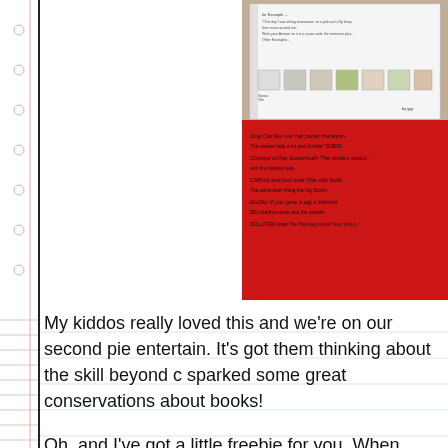[Figure (photo): A classroom bulletin board display showing a white worksheet with printed text and small book cover images at top, and a red paper below with handwritten book titles and student writing, mounted on a tan/brown background.]
My kiddos really loved this and we're on our second pie entertain. It's got them thinking about the skill beyond c sparked some great conservations about books!
Oh, and I've got a little freebie for you. When doing aut my friends read the entire selection and then determine t they use details from the story to support their answer.